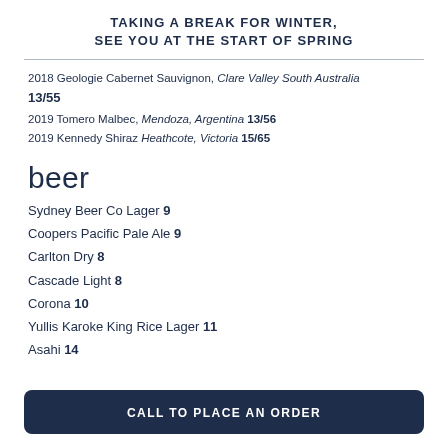TAKING A BREAK FOR WINTER, SEE YOU AT THE START OF SPRING
2018 Geologie Cabernet Sauvignon, Clare Valley South Australia
13/55
2019 Tomero Malbec, Mendoza, Argentina 13/56
2019 Kennedy Shiraz Heathcote, Victoria 15/65
beer
Sydney Beer Co Lager 9
Coopers Pacific Pale Ale 9
Carlton Dry 8
Cascade Light 8
Corona 10
Yullis Karoke King Rice Lager 11
Asahi 14
CALL TO PLACE AN ORDER